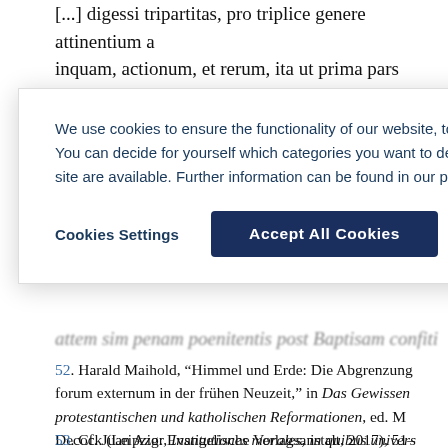[...] digessi tripartitas, pro triplice genere attinentium ad inquam, actionum, et rerum, ita ut prima pars complect
We use cookies to ensure the functionality of our website, to personalize content, to provide social media features, and to analyze our traffic. You can decide for yourself which categories you want to deny or allow. Please note that based on your settings not all functionalities of the site are available. Further information can be found in our privacy policy.  Privacy Statement
Cookies Settings   Accept All Cookies
attem sim penam poenitentis post Baptisam confiti
52. Harald Maihold, “Himmel und Erde: Die Abgrenzung von forum internum und forum externum in der frühen Neuzeit,” in Das Gewissen in den protestantischen und katholischen Reformationen, ed. M. Seidel und W. Decock (Leipzig: Evangelische Verlagsanstalt, 2017), 51–
53. Cf. Juan Azor, Institutiones morales, in quibus universae quaestiones ad conscientiam recte aut prave factorum pertinentes brevi